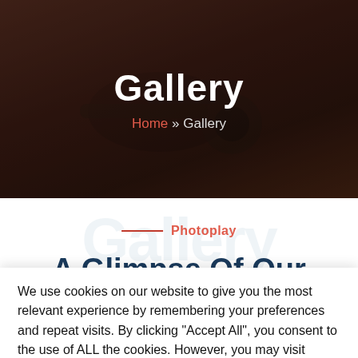[Figure (photo): Dark hero banner with a blurred background photo of keys and lock hardware on a wooden surface. Dark brown/red overlaid tones.]
Gallery
Home » Gallery
[Figure (illustration): White section with large light-blue 'Gallery' watermark text and a Photoplay label with a red line decoration, and partial heading 'A Glimpse Of Our']
Photoplay
A Glimpse Of Our
We use cookies on our website to give you the most relevant experience by remembering your preferences and repeat visits. By clicking "Accept All", you consent to the use of ALL the cookies. However, you may visit "Cookie Settings" to provide a controlled consent.